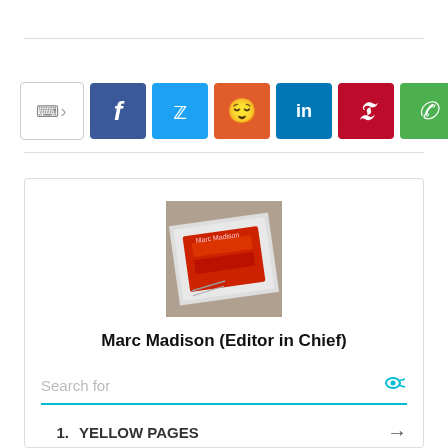[Figure (infographic): Social share bar with icons for Facebook, Twitter, Reddit, LinkedIn, Pinterest, WhatsApp, Tumblr]
[Figure (photo): Photo of Marc Madison (Editor in Chief) showing a newspaper with red logo]
Marc Madison (Editor in Chief)
Search for
1. YELLOW PAGES →
2. FREE CREDIT REPORT →